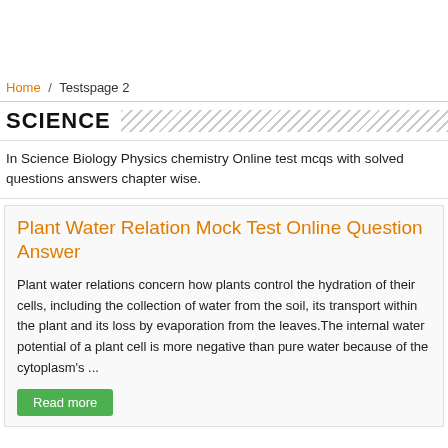Home / Testspage 2
SCIENCE
In Science Biology Physics chemistry Online test mcqs with solved questions answers chapter wise.
Plant Water Relation Mock Test Online Question Answer
Plant water relations concern how plants control the hydration of their cells, including the collection of water from the soil, its transport within the plant and its loss by evaporation from the leaves.The internal water potential of a plant cell is more negative than pure water because of the cytoplasm's ...